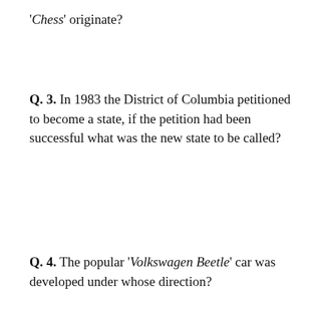'Chess' originate?
Q.  3.  In 1983 the District of Columbia petitioned to become a state, if the petition had been successful what was the new state to be called?
Q.  4.  The popular 'Volkswagen Beetle' car was developed under whose direction?